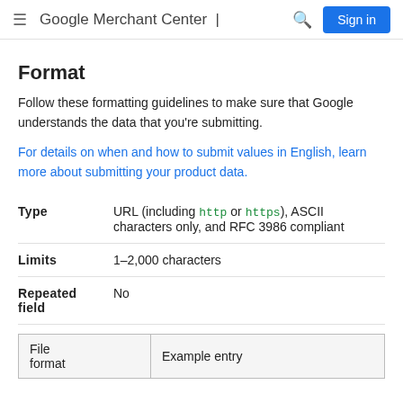Google Merchant Center | Sign in
Format
Follow these formatting guidelines to make sure that Google understands the data that you're submitting.
For details on when and how to submit values in English, learn more about submitting your product data.
| Type | URL (including http or https), ASCII characters only, and RFC 3986 compliant |
| --- | --- |
| Limits | 1–2,000 characters |
| Repeated field | No |
| File format | Example entry |
| --- | --- |